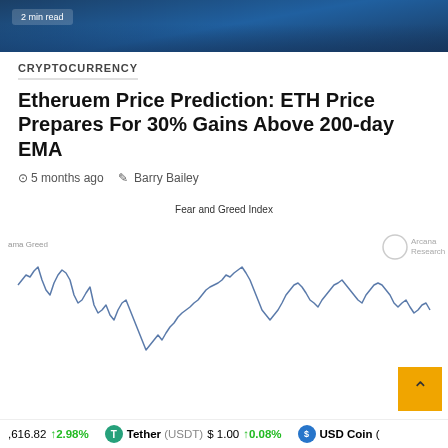[Figure (photo): Dark blue hero image with '2 min read' badge overlay at top of article]
CRYPTOCURRENCY
Etheruem Price Prediction: ETH Price Prepares For 30% Gains Above 200-day EMA
5 months ago   Barry Bailey
[Figure (continuous-plot): Fear and Greed Index line chart showing volatile waveform over time, labeled with 'Arcana Research' logo, x-axis unlabeled, y-axis shows 'ama Greed']
616.82   ↑2.98%   Tether (USDT) $1.00   ↑0.08%   USD Coin (